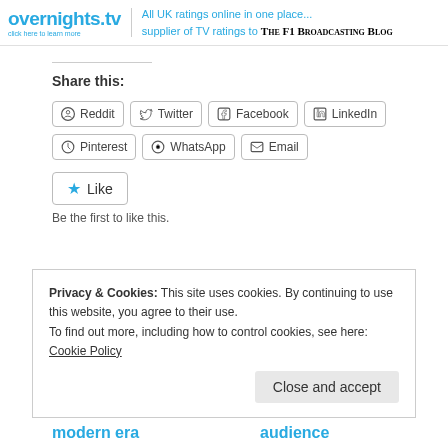overnights.tv — All UK ratings online in one place... supplier of TV ratings to The F1 Broadcasting Blog
Share this:
Reddit
Twitter
Facebook
LinkedIn
Pinterest
WhatsApp
Email
Like
Be the first to like this.
Privacy & Cookies: This site uses cookies. By continuing to use this website, you agree to their use.
To find out more, including how to control cookies, see here: Cookie Policy
Close and accept
modern era
audience